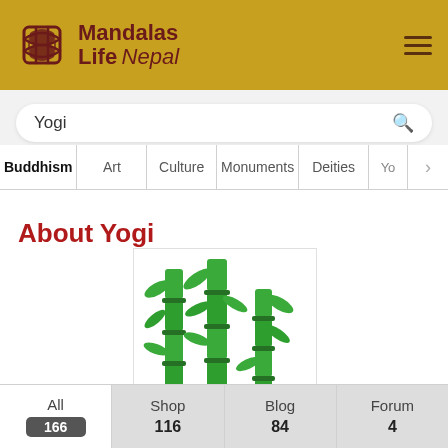Mandalas Life Nepal
Yogi
Buddhism | Art | Culture | Monuments | Deities | Yo >
About Yogi
[Figure (illustration): Illustration of three green bamboo stalks with leaves on a white background]
All 166 | Shop 116 | Blog 84 | Forum 4